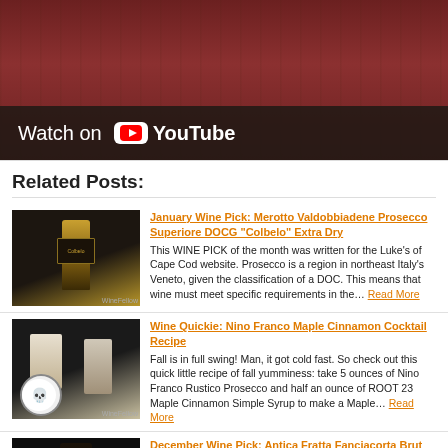[Figure (screenshot): Video thumbnail showing a person in a red shirt with 'Truro Vineyards' logo; overlay shows 'Watch on YouTube' with YouTube play button icon]
Related Posts:
[Figure (photo): Wine bottle photo - dark bottle with gold label (Colbelo)]
January Wine Pick: Merotto Valdobbiadene Prosecco Superiore DOCG "Colbelo" Extra Dry
This WINE PICK of the month was written for the Luke's of Cape Cod website. Prosecco is a region in northeast Italy's Veneto, given the classification of a DOC. This means that wine must meet specific requirements in the… Read More
[Figure (photo): Halloween themed photo with skull decoration and wine bottles]
Wine Quickie: Nino Franco Maple Cinnamon Cocktail Recipe
Fall is in full swing! Man, it got cold fast. So check out this quick little recipe of fall yumminess: take 5 ounces of Nino Franco Rustico Prosecco and half an ounce of ROOT 23 Maple Cinnamon Simple Syrup to make a Maple… Read More
[Figure (photo): Dark wine bottle - Antica Fratta Franciacorta Brut]
December Wine Pick: Antica Fratta Fanciacorta Brut
Excerpt from A Bubbly Biography - The Story of Sparkling Wine - Part 2: Franco Ziliani was a man in love with no other wine but champagne and he became a winemaker for Berlucchi with dreams of recreating it in Franciacorta… Read More